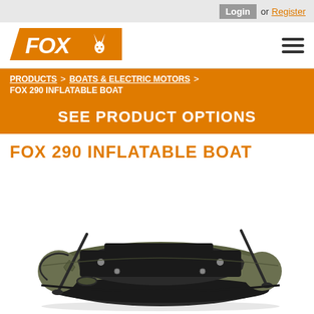Login or Register
[Figure (logo): FOX logo with fox icon on orange parallelogram background]
PRODUCTS > BOATS & ELECTRIC MOTORS > FOX 290 INFLATABLE BOAT
SEE PRODUCT OPTIONS
FOX 290 INFLATABLE BOAT
[Figure (photo): Green/khaki inflatable dinghy boat with black accents, oars, and seating, shown on white background]